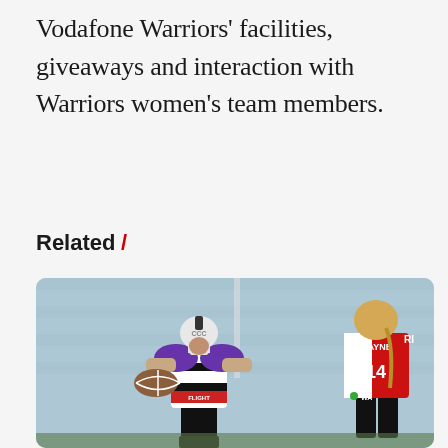Vodafone Warriors' facilities, giveaways and interaction with Warriors women's team members.
Related /
[Figure (photo): A rugby league player wearing a white and black Warriors jersey with purple shoulder padding and a white helmet, carrying a ball. The jersey has 'FLIGHT CENTRE' sponsor text. Another player in a red Roosters jersey (number 14, MAYNE) is visible on the right. Background shows blue stadium seating.]